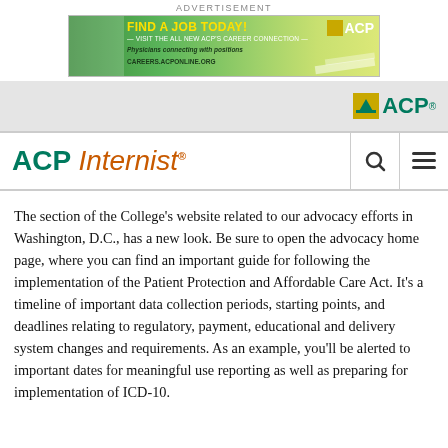[Figure (screenshot): Advertisement banner for ACP Career Connection job site with green gradient background, 'FIND A JOB TODAY!' text in yellow, ACP logo, and careers.acponline.org URL]
[Figure (logo): ACP (American College of Physicians) logo in header bar — gold icon and teal ACP text]
ACP Internist
The section of the College's website related to our advocacy efforts in Washington, D.C., has a new look. Be sure to open the advocacy home page, where you can find an important guide for following the implementation of the Patient Protection and Affordable Care Act. It's a timeline of important data collection periods, starting points, and deadlines relating to regulatory, payment, educational and delivery system changes and requirements. As an example, you'll be alerted to important dates for meaningful use reporting as well as preparing for implementation of ICD-10.